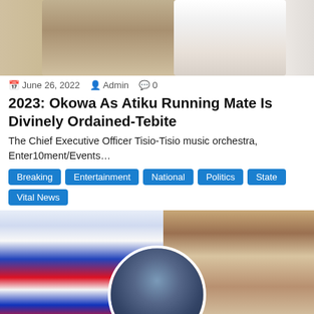[Figure (photo): Top banner photo showing people in formal attire, partially visible, cropped at top of page]
June 26, 2022   Admin   0
2023: Okowa As Atiku Running Mate Is Divinely Ordained-Tebite
The Chief Executive Officer Tisio-Tisio music orchestra, Enter10ment/Events…
Breaking  Entertainment  National  Politics  State  Vital News
[Figure (photo): Composite image showing three people: left person wearing white t-shirt and sunglasses holding an item with blue/red pattern; center person in circular frame wearing glasses and blue suit jacket; right person wearing sunglasses and cream/beige attire]